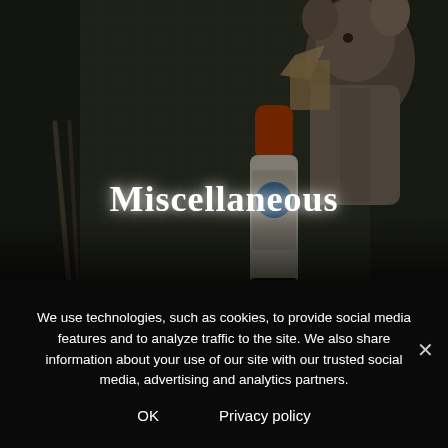[Figure (photo): Dark photo of a paper craft mouse figure holding something, next to craft tools including tweezers and an Elmer's glue stick, on a green cutting mat background.]
Miscellaneous
We use technologies, such as cookies, to provide social media features and to analyze traffic to the site. We also share information about your use of our site with our trusted social media, advertising and analytics partners.
OK   Privacy policy